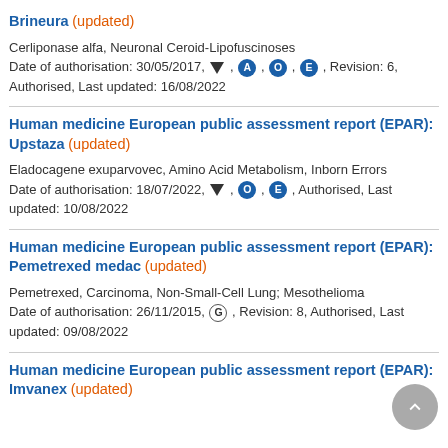Brineura (updated)
Cerliponase alfa, Neuronal Ceroid-Lipofuscinoses
Date of authorisation: 30/05/2017, ▼, A, O, E, Revision: 6, Authorised, Last updated: 16/08/2022
Human medicine European public assessment report (EPAR): Upstaza (updated)
Eladocagene exuparvovec, Amino Acid Metabolism, Inborn Errors
Date of authorisation: 18/07/2022, ▼, O, E, Authorised, Last updated: 10/08/2022
Human medicine European public assessment report (EPAR): Pemetrexed medac (updated)
Pemetrexed, Carcinoma, Non-Small-Cell Lung; Mesothelioma
Date of authorisation: 26/11/2015, G, Revision: 8, Authorised, Last updated: 09/08/2022
Human medicine European public assessment report (EPAR): Imvanex (updated)